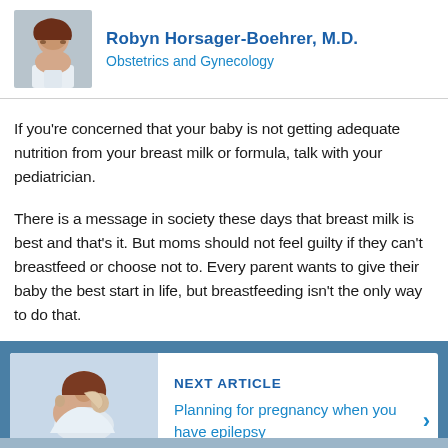[Figure (photo): Headshot photo of Dr. Robyn Horsager-Boehrer, a woman with shoulder-length reddish-brown hair and glasses, wearing a white coat, smiling.]
Robyn Horsager-Boehrer, M.D.
Obstetrics and Gynecology
If you’re concerned that your baby is not getting adequate nutrition from your breast milk or formula, talk with your pediatrician.
There is a message in society these days that breast milk is best and that’s it. But moms should not feel guilty if they can’t breastfeed or choose not to. Every parent wants to give their baby the best start in life, but breastfeeding isn’t the only way to do that.
[Figure (photo): Photo of a mother holding and kissing a young toddler/baby, used as a thumbnail for the next article.]
NEXT ARTICLE
Planning for pregnancy when you have epilepsy